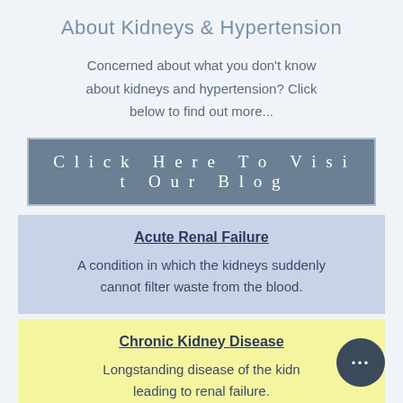About Kidneys & Hypertension
Concerned about what you don't know about kidneys and hypertension? Click below to find out more...
Click Here To Visit Our Blog
Acute Renal Failure
A condition in which the kidneys suddenly cannot filter waste from the blood.
Chronic Kidney Disease
Longstanding disease of the kidneys leading to renal failure.